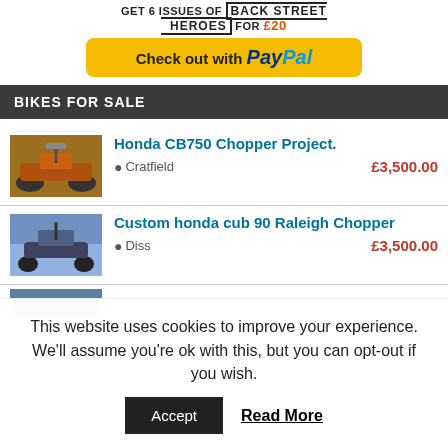[Figure (infographic): Advertisement banner: GET 6 ISSUES OF BACK STREET HEROES FOR £20 with a PayPal checkout button on yellow background]
BIKES FOR SALE
[Figure (photo): Thumbnail photo of Honda CB750 Chopper Project motorcycle]
Honda CB750 Chopper Project.
Cratfield  £3,500.00
[Figure (photo): Thumbnail photo of Custom honda cub 90 Raleigh Chopper motorcycle]
Custom honda cub 90 Raleigh Chopper
Diss  £3,500.00
This website uses cookies to improve your experience. We'll assume you're ok with this, but you can opt-out if you wish.
Accept  Read More